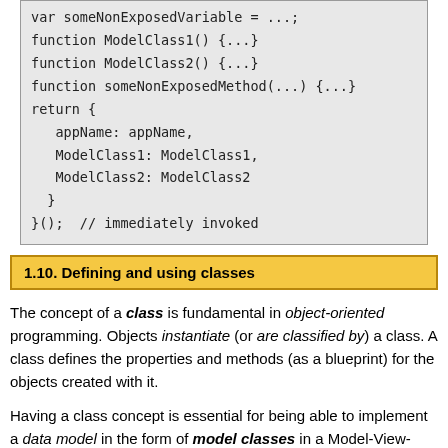[Figure (screenshot): Code block showing JavaScript module pattern with var someNonExposedVariable, function ModelClass1, function ModelClass2, function someNonExposedMethod, and a return object with appName, ModelClass1, ModelClass2, ending with }(); // immediately invoked]
1.10. Defining and using classes
The concept of a class is fundamental in object-oriented programming. Objects instantiate (or are classified by) a class. A class defines the properties and methods (as a blueprint) for the objects created with it.
Having a class concept is essential for being able to implement a data model in the form of model classes in a Model-View-Controller (MVC) architecture. However, classes and their inheritance/extension mechanism are over-used in classical OO languages, such as in Java, where all variables and procedures have to be defined in the context of a class and, consequently, classes are not only used for implementing object types (or model classes), but also as containers for many other purposes in these languages. This is not the case in JavaScript where we have the